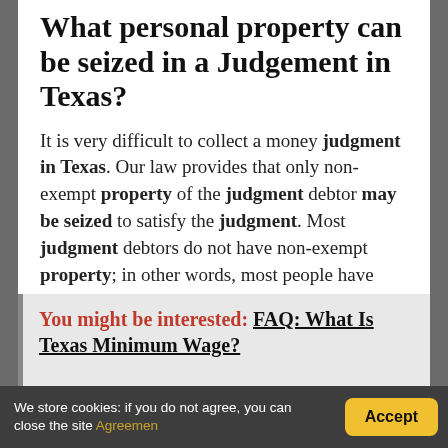What personal property can be seized in a Judgement in Texas?
It is very difficult to collect a money judgment in Texas. Our law provides that only non-exempt property of the judgment debtor may be seized to satisfy the judgment. Most judgment debtors do not have non-exempt property; in other words, most people have only exempt property.
You might be interested: FAQ: What Is Texas Minimum Wage?
We store cookies: if you do not agree, you can close the site Agreemen